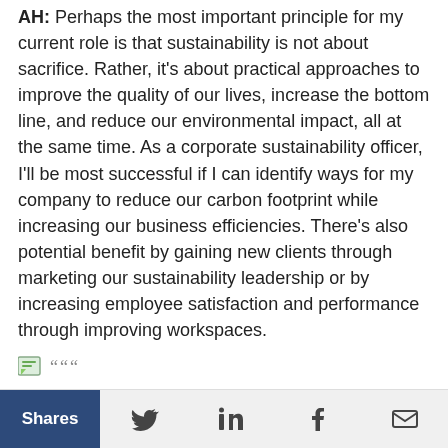AH: Perhaps the most important principle for my current role is that sustainability is not about sacrifice. Rather, it's about practical approaches to improve the quality of our lives, increase the bottom line, and reduce our environmental impact, all at the same time. As a corporate sustainability officer, I'll be most successful if I can identify ways for my company to reduce our carbon footprint while increasing our business efficiencies. There's also potential benefit by gaining new clients through marketing our sustainability leadership or by increasing employee satisfaction and performance through improving workspaces.
[Figure (illustration): Small image/icon with quotation marks]
RMI: Can you describe some of your projects at Fore Solutions or Thornton Tomasetti?
AH: We've worked on some really interesting green building projects, including MGM City Center in Las
Shares  [Twitter] [LinkedIn] [Facebook] [Email]